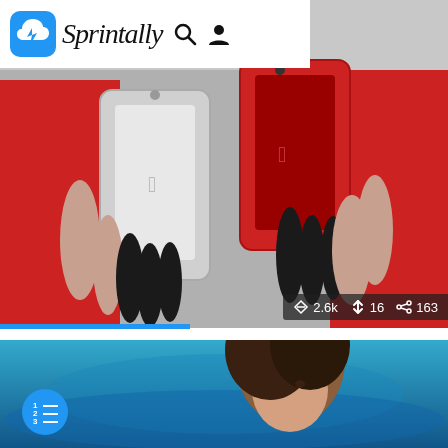Sprintally
[Figure (photo): Hands holding two red iPhone 12 Pro Max devices against a red background]
2.6k  16  163
2
iPhone 12 Pro Max Giveaway 2021: Win an Free iPhone
iPhone 12 Pro Max Giveaway: We Sprintally are giving thanks to all our supporters for supporting our brand, we couldn't have done all this without...
by Sprintally 1year ago
[Figure (photo): Woman swimming in blue water, looking up at camera]